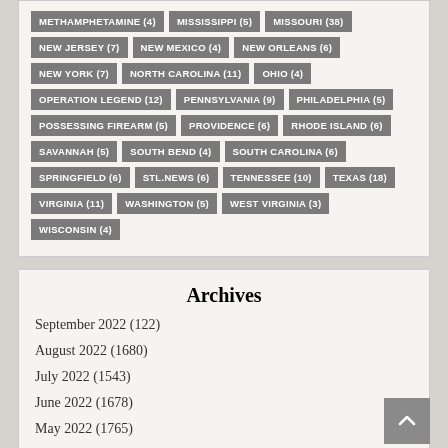METHAMPHETAMINE (4)
MISSISSIPPI (5)
MISSOURI (38)
NEW JERSEY (7)
NEW MEXICO (4)
NEW ORLEANS (6)
NEW YORK (7)
NORTH CAROLINA (11)
OHIO (4)
OPERATION LEGEND (12)
PENNSYLVANIA (9)
PHILADELPHIA (5)
POSSESSING FIREARM (5)
PROVIDENCE (6)
RHODE ISLAND (6)
SAVANNAH (5)
SOUTH BEND (4)
SOUTH CAROLINA (6)
SPRINGFIELD (6)
STL.NEWS (6)
TENNESSEE (10)
TEXAS (18)
VIRGINIA (11)
WASHINGTON (5)
WEST VIRGINIA (3)
WISCONSIN (4)
Archives
September 2022 (122)
August 2022 (1680)
July 2022 (1543)
June 2022 (1678)
May 2022 (1765)
April 2022 (1751)